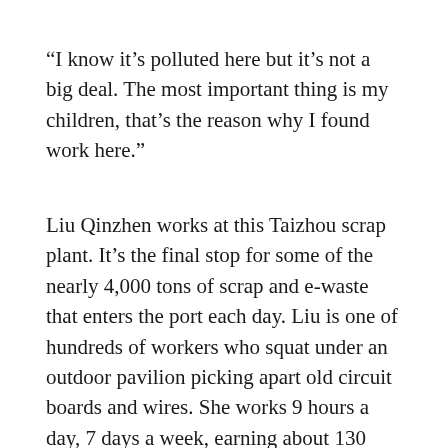“I know it’s polluted here but it’s not a big deal. The most important thing is my children, that’s the reason why I found work here.”
Liu Qinzhen works at this Taizhou scrap plant. It’s the final stop for some of the nearly 4,000 tons of scrap and e-waste that enters the port each day. Liu is one of hundreds of workers who squat under an outdoor pavilion picking apart old circuit boards and wires. She works 9 hours a day, 7 days a week, earning about 130 dollars a month.